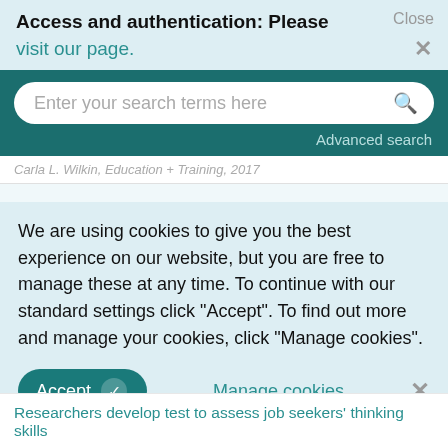Access and authentication: Please visit our page.
[Figure (screenshot): Search bar with placeholder text 'Enter your search terms here' and a magnifying glass icon on a teal background, with 'Advanced search' link below]
Carla L. Wilkin, Education + Training, 2017
We are using cookies to give you the best experience on our website, but you are free to manage these at any time. To continue with our standard settings click "Accept". To find out more and manage your cookies, click "Manage cookies".
Accept   Manage cookies
Researchers develop test to assess job seekers' thinking skills